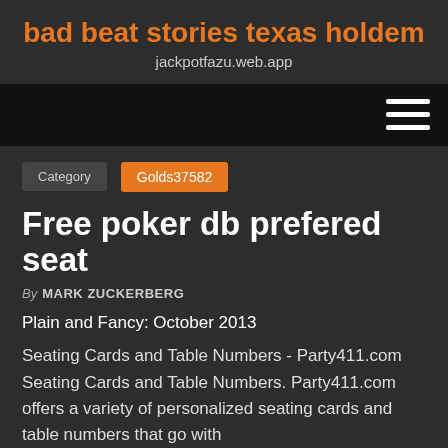bad beat stories texas holdem
jackpotfazu.web.app
[Figure (other): Navigation bar with hamburger menu icon (three horizontal white lines) on black background]
Category   Golds37582
Free poker db prefered seat
By MARK ZUCKERBERG
Plain and Fancy: October 2013
Seating Cards and Table Numbers - Party411.com Seating Cards and Table Numbers. Party411.com offers a variety of personalized seating cards and table numbers that go with